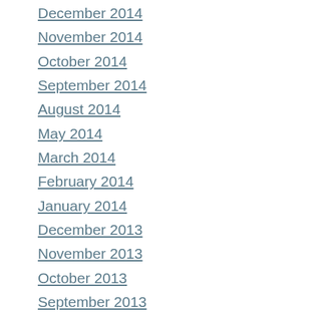December 2014
November 2014
October 2014
September 2014
August 2014
May 2014
March 2014
February 2014
January 2014
December 2013
November 2013
October 2013
September 2013
August 2013
July 2013
June 2013
May 2013
April 2013
March 2013